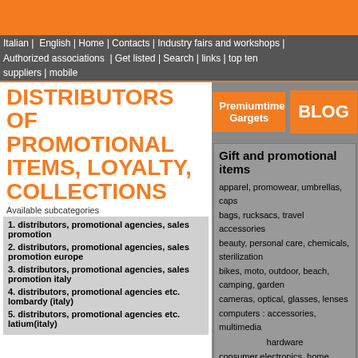Italian | English | Home | Contacts | Industry fairs and workshops | Authorized associations | Get listed | Search | links | top ten suppliers | mobile
DISTRIBUTORS OF PROMOTIONAL ITEMS, LOYALTY, COLLECTIONS
Available subcategories
1. distributors, promotional agencies, sales promotion
2. distributors, promotional agencies, sales promotion europe
3. distributors, promotional agencies, sales promotion italy
4. distributors, promotional agencies etc. lombardy (italy)
5. distributors, promotional agencies etc. latium(italy)
[Figure (other): Premiumtime Gargets button and BLOG button in orange on grey background]
Gift and promotional items
apparel, promowear, umbrellas, caps
bags, rucksacs, travel accessories
beauty, personal care, chemicals, sterilization
bikes, moto, outdoor, beach, camping, garden
cameras, optical, glasses, lenses
computers : accessories, multimedia hardware
consumer electronics, home appliances
electrical and battery appliances
food, beverage, special gifts, hampers
gifts, gadgets, premiums, promotional products
hotel : accessories, furniture, contract
household, houseware, home & hotels